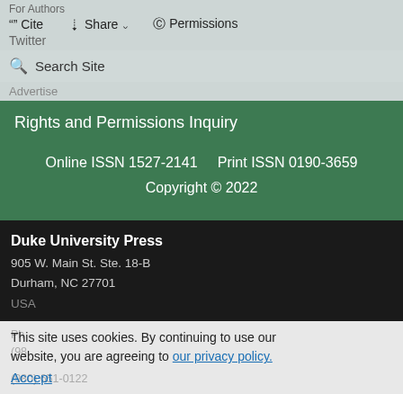For Authors
Cite  Share  Permissions
Twitter
Search Site
Advertise
Rights and Permissions Inquiry
Online ISSN 1527-2141    Print ISSN 0190-3659
Copyright © 2022
Duke University Press
905 W. Main St. Ste. 18-B
Durham, NC 27701
USA
This site uses cookies. By continuing to use our website, you are agreeing to our privacy policy.
Accept